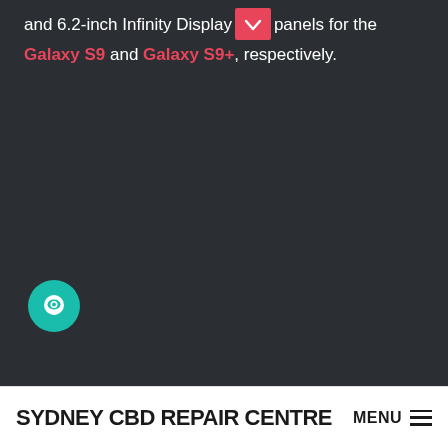and 6.2-inch Infinity Display panels for the Galaxy S9 and Galaxy S9+, respectively.
[Figure (other): Teal circular chat/support button icon on dark background]
Looking to the future, Samsung is also believed to have
SYDNEY CBD REPAIR CENTRE MENU ≡